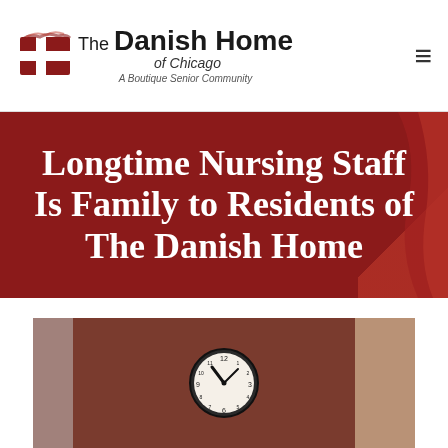[Figure (logo): The Danish Home of Chicago logo with Danish flag cross symbol and text 'The Danish Home of Chicago - A Boutique Senior Community']
[Figure (other): Hamburger menu icon (three horizontal lines) in top right corner]
Longtime Nursing Staff Is Family to Residents of The Danish Home
[Figure (photo): Interior photo showing a dark red/brown wall with a round black clock mounted on it, and a lighter colored door or wall on the right side]